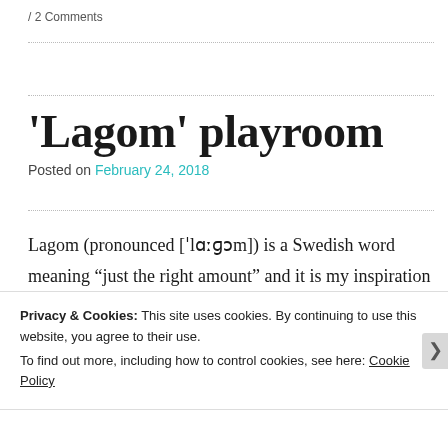/ 2 Comments
‘Lagom’ playroom
Posted on February 24, 2018
Lagom (pronounced [ˈlɑːɡɔm]) is a Swedish word meaning “just the right amount” and it is my inspiration for our “kid cave” (AKA basement family room). I want my three kids to
Privacy & Cookies: This site uses cookies. By continuing to use this website, you agree to their use.
To find out more, including how to control cookies, see here: Cookie Policy
Close and accept